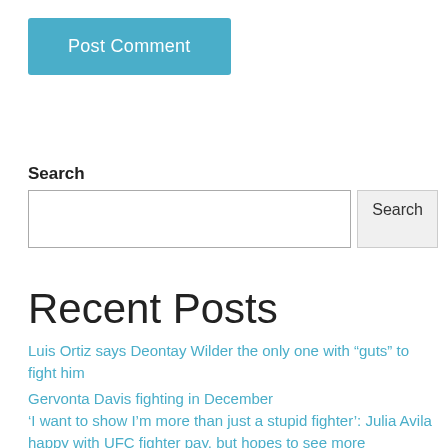[Figure (other): Blue 'Post Comment' button]
Search
[Figure (other): Search input field with Search button]
Recent Posts
Luis Ortiz says Deontay Wilder the only one with “guts” to fight him
Gervonta Davis fighting in December
‘I want to show I’m more than just a stupid fighter’: Julia Avila happy with UFC fighter pay, but hopes to see more implemented